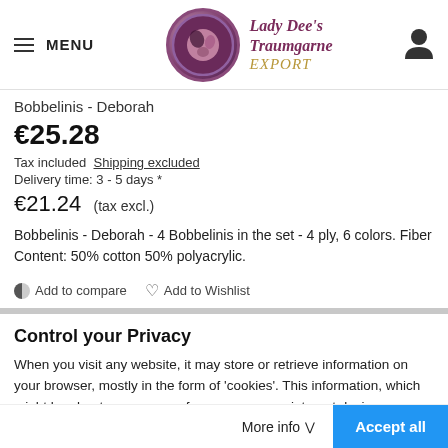MENU | Lady Dee's Traumgarne EXPORT
Bobbelinis - Deborah
€25.28
Tax included  Shipping excluded
Delivery time: 3 - 5 days *
€21.24  (tax excl.)
Bobbelinis - Deborah - 4 Bobbelinis in the set - 4 ply, 6 colors. Fiber Content: 50% cotton 50% polyacrylic.
Add to compare  Add to Wishlist
Control your Privacy
When you visit any website, it may store or retrieve information on your browser, mostly in the form of 'cookies'. This information, which might be about you, your preferences, or your internet device (computer, tablet or mobile), is mostly used to make the site work as you expect it to.
More info  Accept all